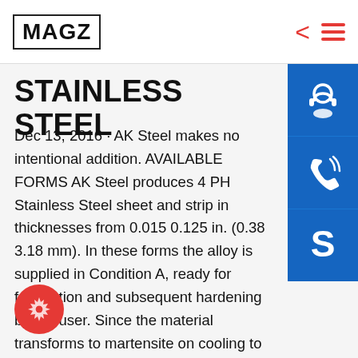MAGZ
STAINLESS STEEL
Dec 13, 2016 · AK Steel makes no intentional addition. AVAILABLE FORMS AK Steel produces 4 PH Stainless Steel sheet and strip in thicknesses from 0.015 0.125 in. (0.38 3.18 mm). In these forms the alloy is supplied in Condition A, ready for fabrication and subsequent hardening by the user. Since the material transforms to martensite on cooling to Specialty Alloys – Global Innovation Partner Carpenter ium, stainless steel, and specialty alloys for surgical instruments, medical devices, prosthetics, and orthopedics. MARKETS Carpenter